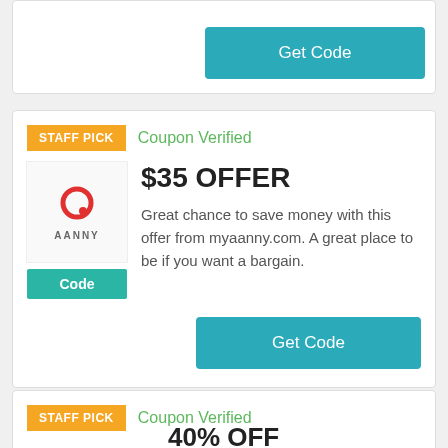[Figure (other): Partial coupon card showing a Get Code button at the top of the page]
Get Code
STAFF PICK
Coupon Verified
$35 OFFER
Great chance to save money with this offer from myaanny.com. A great place to be if you want a bargain.
[Figure (logo): AANNY logo with red Q letter mark and AANNY text below]
Code
Get Code
STAFF PICK
Coupon Verified
40% OFF